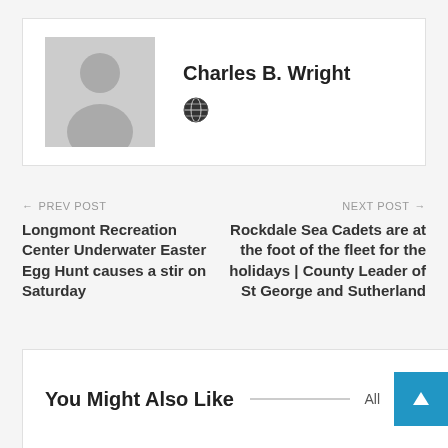Charles B. Wright
← PREV POST — Longmont Recreation Center Underwater Easter Egg Hunt causes a stir on Saturday
NEXT POST → Rockdale Sea Cadets are at the foot of the fleet for the holidays | County Leader of St George and Sutherland
You Might Also Like — All